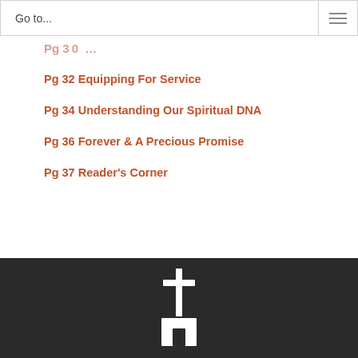Go to...
Pg 32 Equipping For Service
Pg 34 Understanding Our Spiritual DNA
Pg 36 Forever & A Precious Promise
Pg 37 Reader's Corner
[Figure (illustration): White cross and church building icon on dark background footer]